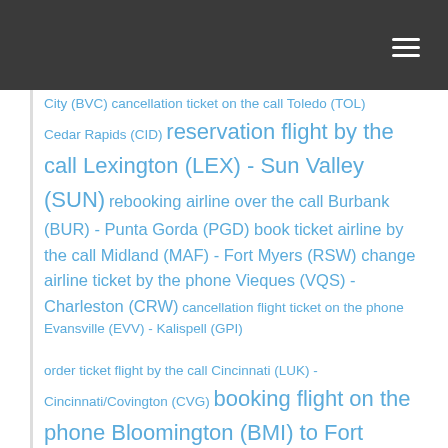City (BVC) cancellation ticket on the call Toledo (TOL) Cedar Rapids (CID) reservation flight by the call Lexington (LEX) - Sun Valley (SUN) rebooking airline over the call Burbank (BUR) - Punta Gorda (PGD) book ticket airline by the call Midland (MAF) - Fort Myers (RSW) change airline ticket by the phone Vieques (VQS) - Charleston (CRW) cancellation flight ticket on the phone Evansville (EVV) - Kalispell (GPI) order ticket flight by the call Cincinnati (LUK) - Cincinnati/Covington (CVG) booking flight on the phone Bloomington (BMI) to Fort Wayne (FWA) cancel airline on the phone Milwaukee (MKE) to Lexington (LEX) cancellation ticket flight over the call Huntington (HTS) - Akron (CAK)